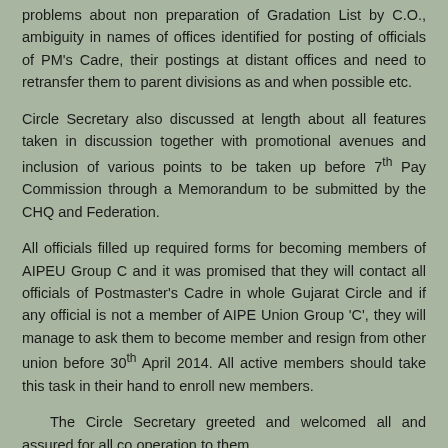problems about non preparation of Gradation List by C.O., ambiguity in names of offices identified for posting of officials of PM's Cadre, their postings at distant offices and need to retransfer them to parent divisions as and when possible etc.
Circle Secretary also discussed at length about all features taken in discussion together with promotional avenues and inclusion of various points to be taken up before 7th Pay Commission through a Memorandum to be submitted by the CHQ and Federation.
All officials filled up required forms for becoming members of AIPEU Group C and it was promised that they will contact all officials of Postmaster's Cadre in whole Gujarat Circle and if any official is not a member of AIPE Union Group 'C', they will manage to ask them to become member and resign from other union before 30th April 2014. All active members should take this task in their hand to enroll new members.
The Circle Secretary greeted and welcomed all and assured for all co operation to them.